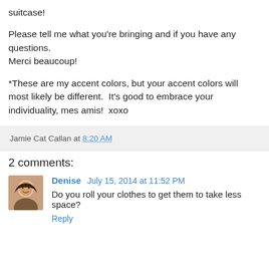suitcase!
Please tell me what you're bringing and if you have any questions.
Merci beaucoup!
*These are my accent colors, but your accent colors will most likely be different.  It's good to embrace your individuality, mes amis!  xoxo
Jamie Cat Callan at 8:20 AM
2 comments:
Denise  July 15, 2014 at 11:52 PM
Do you roll your clothes to get them to take less space?
Reply